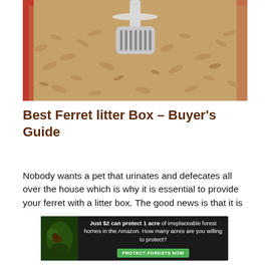[Figure (photo): Close-up photo of wood pellet ferret litter in a red litter box with a white slotted litter scoop]
Best Ferret litter Box – Buyer's Guide
Nobody wants a pet that urinates and defecates all over the house which is why it is essential to provide your ferret with a litter box. The good news is that it is
[Figure (other): Advertisement banner: Just $2 can protect 1 acre of irreplaceable forest homes in the Amazon. How many acres are you willing to protect? PROTECT FORESTS NOW]